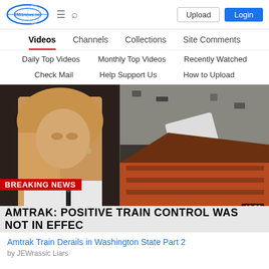1531news.net — Upload | Login
Videos | Channels | Collections | Site Comments
Daily Top Videos | Monthly Top Videos | Recently Watched
Check Mail | Help Support Us | How to Upload
[Figure (screenshot): CNN Breaking News screenshot showing a female anchor on the left and aerial footage of a train derailment on the right. Lower-third text: BREAKING NEWS in red, and chyron reading 'AMTRAK: POSITIVE TRAIN CONTROL WAS NOT IN EFFEC'. Duration badge shows 10:53.]
Amtrak Train Derails in Washington State Part 2
by JEWrassic Liars